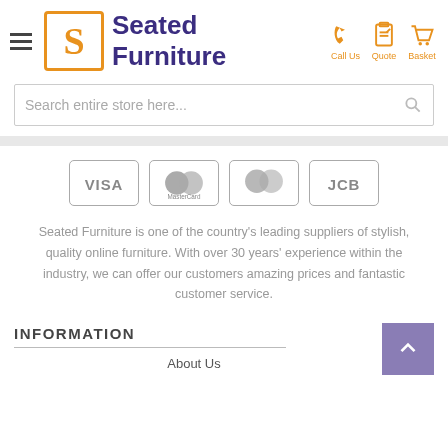[Figure (logo): Seated Furniture logo with orange S in bordered box and purple brand name text, plus hamburger menu icon]
[Figure (infographic): Header icons for Call Us (phone), Quote (clipboard), and Basket (shopping cart) in orange]
Search entire store here...
[Figure (infographic): Payment card icons: VISA, MasterCard, Mastercard, JCB - all in gray]
Seated Furniture is one of the country's leading suppliers of stylish, quality online furniture. With over 30 years' experience within the industry, we can offer our customers amazing prices and fantastic customer service.
INFORMATION
About Us